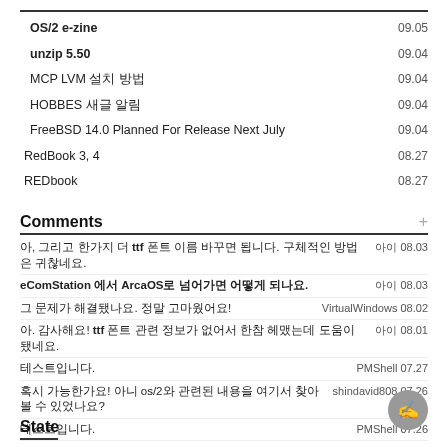OS/2 e-zine   09.05
unzip 5.50   09.04
MCP LVM 설치 방법   09.04
HOBBES 새글 알림   09.04
FreeBSD 14.0 Planned For Release Next July   09.04
RedBook 3, 4   08.27
REDbook   08.27
Comments
아, 그리고 한가지 더 ttf 폰트 이름 바꾸면 됩니다. 구체적인 방법은 귀찮네요.   아이 08.03
eComStation 에서 ArcaOS로 넘어가면 어떻게 되나요.   아이 08.03
그 문제가 해결됐나요. 정말 고마웠어요!   VirtualWindows 08.02
아. 감사해요! ttf 폰트 관련 정보가 없어서 한참 헤맸는데 도움이 됐네요.   아이 08.01
테스트입니다.   PMShell 07.27
혹시 가능한가요! 아니 os/2와 관련된 내용을 여기서 찾아볼 수 있었나요?   shindavid808 07.26
테스트입니다.   PMShell 07.26
State